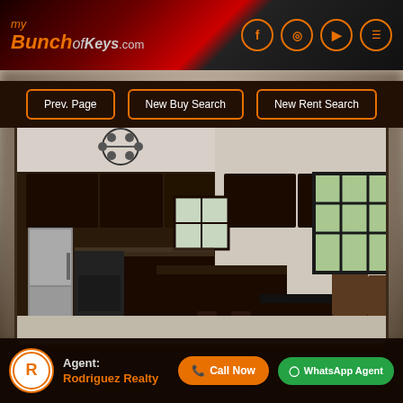myBunchofKeys.com
Prev. Page
New Buy Search
New Rent Search
[Figure (photo): Interior kitchen and dining area with dark wood cabinetry, kitchen island with bar stools, stainless steel refrigerator, ceiling fan, and dark dining table with chairs. Large windows with black frames visible.]
Agent: Rodriguez Realty
Call Now
WhatsApp Agent